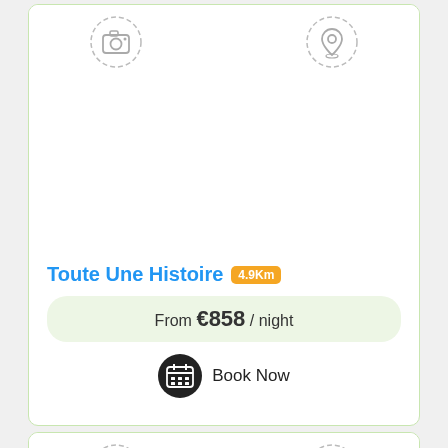[Figure (screenshot): Accommodation listing card for 'Toute Une Histoire' showing placeholder camera and location icons, property name, distance badge (4.9Km), price (From €858 / night) and Book Now button.]
Toute Une Histoire
4.9Km
From €858 / night
Book Now
[Figure (screenshot): Second accommodation listing card (partially visible) showing placeholder camera and location icons at top.]